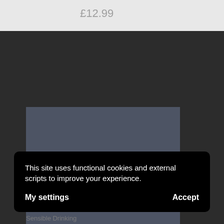£12.99
[Figure (logo): Premier Cru Wine Merchant logo on a grey-blue square background with text PREMIER CRU and WINE MERCHANT]
This site uses functional cookies and external scripts to improve your experience.
My settings
Accept
Sensible Drinking